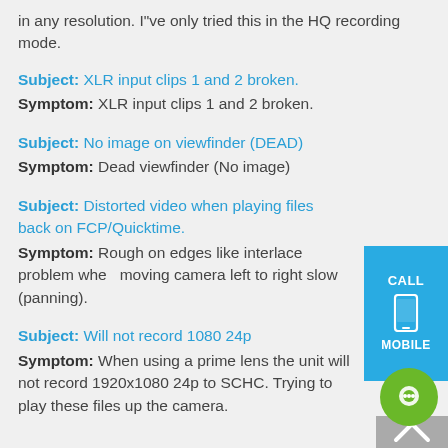in any resolution. I"ve only tried this in the HQ recording mode.
Subject: XLR input clips 1 and 2 broken.
Symptom: XLR input clips 1 and 2 broken.
Subject: No image on viewfinder (DEAD)
Symptom: Dead viewfinder (No image)
Subject: Distorted video when playing files back on FCP/Quicktime.
Symptom: Rough on edges like interlace problem when moving camera left to right slow (panning).
Subject: Will not record 1080 24p
Symptom: When using a prime lens the unit will not record 1920x1080 24p to SCHC. Trying to play these files up the camera.
[Figure (other): Blue CALL/MOBILE button overlay on right side with phone icon]
[Figure (other): Green chat bubble icon in bottom right corner]
[Figure (other): Gray scroll-up arrow area at bottom right]